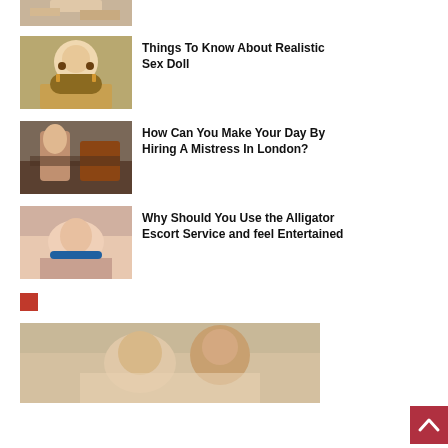[Figure (photo): Partial thumbnail image at top, cropped]
[Figure (photo): Blonde woman with sunglasses thumbnail]
Things To Know About Realistic Sex Doll
[Figure (photo): Woman in dark outfit with motorcycle thumbnail]
How Can You Make Your Day By Hiring A Mistress In London?
[Figure (photo): Person lying on bed thumbnail]
Why Should You Use the Alligator Escort Service and feel Entertained
[Figure (photo): Small red square icon]
[Figure (photo): Couple embracing large image at bottom]
[Figure (illustration): Back to top red button with arrow]